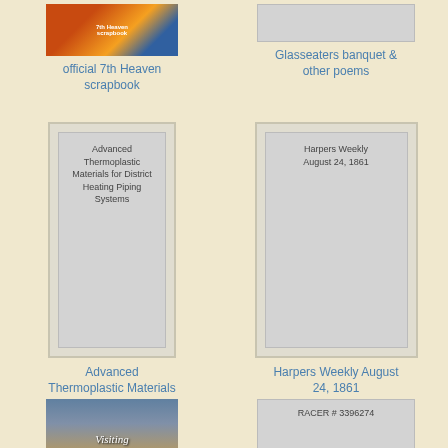[Figure (photo): Book cover for official 7th Heaven scrapbook with colorful imagery]
official 7th Heaven scrapbook
[Figure (photo): Placeholder cover for Glasseaters banquet & other poems]
Glasseaters banquet & other poems
[Figure (photo): Book cover: Advanced Thermoplastic Materials for District Heating Piping Systems]
Advanced Thermoplastic Materials for District Heating Piping Systems
[Figure (photo): Book cover: Harpers Weekly August 24, 1861]
Harpers Weekly August 24, 1861
[Figure (photo): Book cover: Visiting Picasso with mountain background]
[Figure (photo): Placeholder cover showing RACER # 3396274]